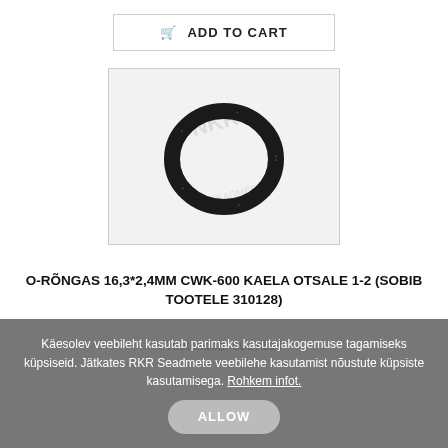ADD TO CART
[Figure (photo): Photo of a black rubber O-ring (16.3x2.4mm) on a light grey/white background with RKR watermark logo]
O-RÕNGAS 16,3*2,4MM CWK-600 KAELA OTSALE 1-2 (SOBIB TOOTELE 310128)
Tootekood: 6017114
Käesolev veebileht kasutab parimaks kasutajakogemuse tagamiseks küpsiseid. Jätkates RKR Seadmete veebilehe kasutamist nõustute küpsiste kasutamisega. Rohkem infot.
ALLOW